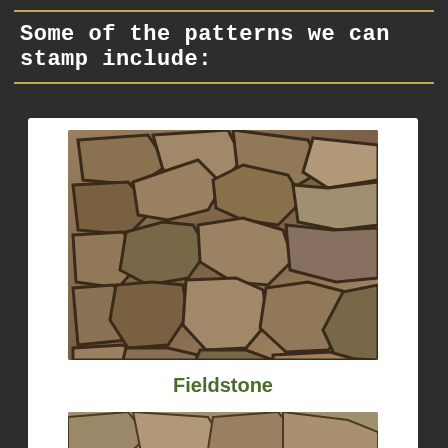Some of the patterns we can stamp include:
[Figure (photo): Close-up photograph of stamped concrete in a fieldstone pattern, showing irregular polygonal stone shapes with dark grout lines, in brown and tan tones.]
Fieldstone
[Figure (photo): Partial view of another stamped concrete pattern at the bottom of the page.]